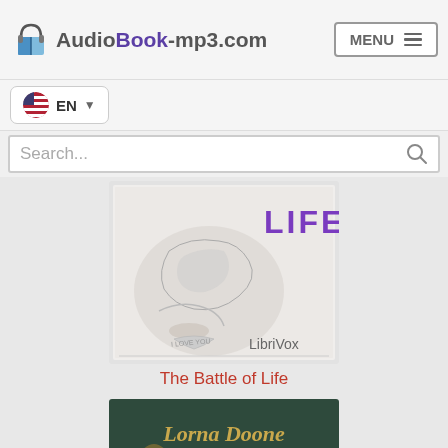AudioBook-mp3.com  MENU
EN
Search...
[Figure (illustration): Book cover for 'The Battle of Life', LibriVox audiobook. Features an engraved illustration of a reclining figure with floral decoration, title 'LIFE' in purple text, and 'LibriVox' branding.]
The Battle of Life
[Figure (illustration): Book cover for 'Lorna Doone by R.D. Blackmore', LibriVox audiobook. Dark green cover with ornate gold lettering and decorative botanical illustration.]